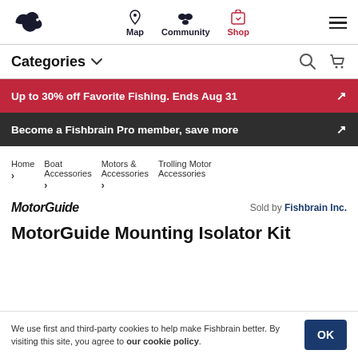Fishbrain navigation: Map, Community, Shop
Categories
Up to 30% off Favorite Fishing. Ends Aug 31 ↗
Become a Fishbrain Pro member, save more ↗
Home > Boat Accessories > Motors & Accessories > Trolling Motor Accessories
MotorGuide   Sold by Fishbrain Inc.
MotorGuide Mounting Isolator Kit
We use first and third-party cookies to help make Fishbrain better. By visiting this site, you agree to our cookie policy.